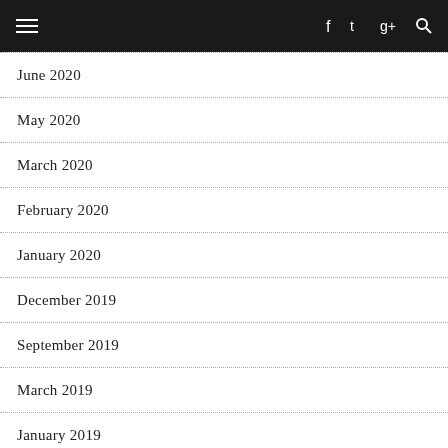≡ f t g+ 🔍
June 2020
May 2020
March 2020
February 2020
January 2020
December 2019
September 2019
March 2019
January 2019
December 2018
November 2018